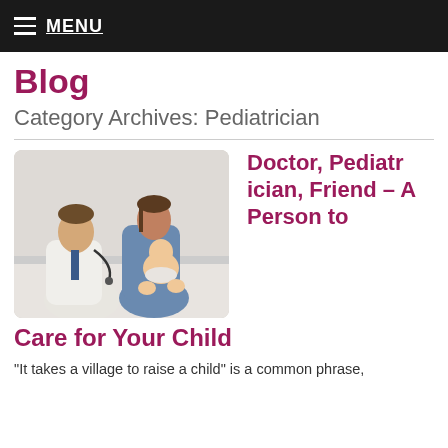≡ MENU
Blog
Category Archives: Pediatrician
[Figure (photo): A male doctor in a white coat using a stethoscope on a baby seated on an examination table, while the mother watches.]
Doctor, Pediatrician, Friend – A Person to Care for Your Child
“It takes a village to raise a child” is a common phrase,